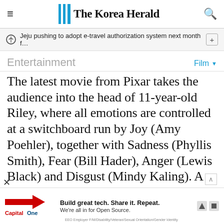The Korea Herald
Jeju pushing to adopt e-travel authorization system next month f…
Entertainment
Film
The latest movie from Pixar takes the audience into the head of 11-year-old Riley, where all emotions are controlled at a switchboard run by Joy (Amy Poehler), together with Sadness (Phyllis Smith), Fear (Bill Hader), Anger (Lewis Black) and Disgust (Mindy Kaling). A mishap sets off a chain reaction threatening Riley's emotional balance, and Joy tries her best to set things right.
[Figure (other): Capital One advertisement banner: Build great tech. Share it. Repeat. We're all in for Open Source.]